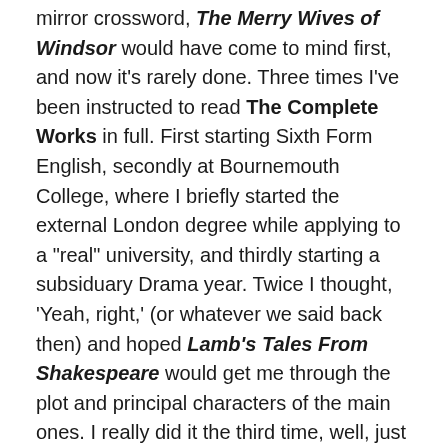mirror crossword, The Merry Wives of Windsor would have come to mind first, and now it's rarely done. Three times I've been instructed to read The Complete Works in full. First starting Sixth Form English, secondly at Bournemouth College, where I briefly started the external London degree while applying to a "real" university, and thirdly starting a subsiduary Drama year. Twice I thought, 'Yeah, right,' (or whatever we said back then) and hoped Lamb's Tales From Shakespeare would get me through the plot and principal characters of the main ones. I really did it the third time, well, just the plays. In spite of that speed-reading, Measure for Measure never registered on my radar until my daughter studied it for A level, in its late 90s / early 2000s "set Shakespeare play" ascendancy. ' I don't think my  60s teachers would have felt comfortable with the amount of sex in it. I thought our Shakespeare teacher was going to expire as he explained Let us now